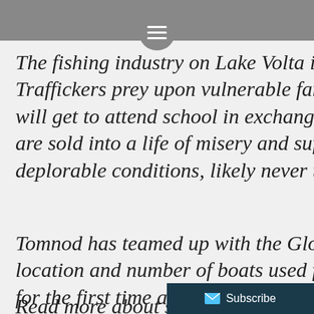≡
The fishing industry on Lake Volta is a site of syste... Traffickers prey upon vulnerable families and tell them their children will get to attend school in exchange for a few hours of work. Instead, children are sold into a life of misery and suffering; forced to work in deplorable conditions, likely never to see their rea...
Tomnod has teamed up with the Global Fund to E... location and number of boats used for fishing aro... for the first time a reliable estimate of the extent o...
Read more about slavery on Lake Volta and how y... Tomnod campaign will help free mo...